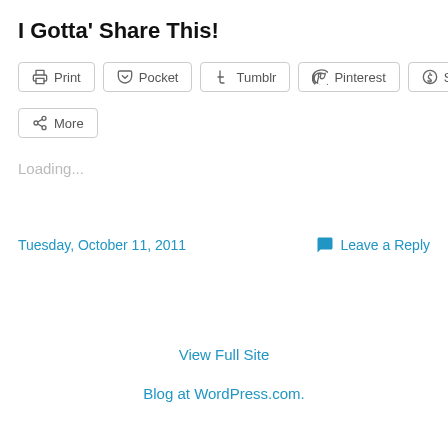I Gotta' Share This!
Print | Pocket | Tumblr | Pinterest | Skype | More
Loading...
Tuesday, October 11, 2011
Leave a Reply
View Full Site
Blog at WordPress.com.